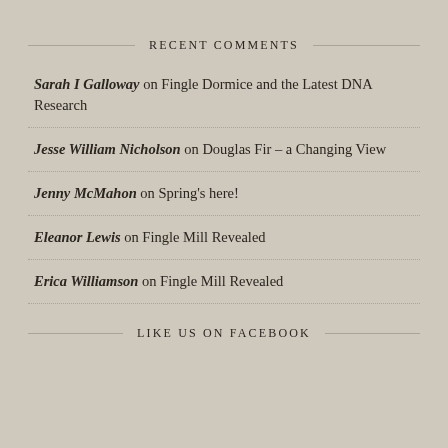RECENT COMMENTS
Sarah I Galloway on Fingle Dormice and the Latest DNA Research
Jesse William Nicholson on Douglas Fir – a Changing View
Jenny McMahon on Spring's here!
Eleanor Lewis on Fingle Mill Revealed
Erica Williamson on Fingle Mill Revealed
LIKE US ON FACEBOOK